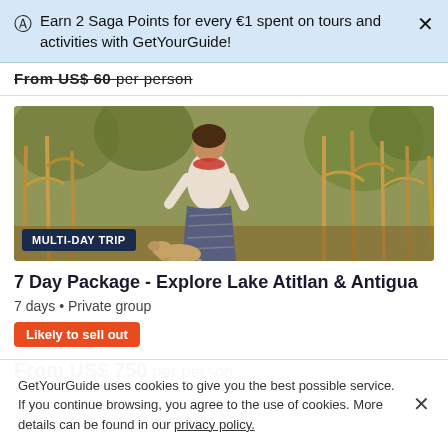Earn 2 Saga Points for every €1 spent on tours and activities with GetYourGuide!
From US$ 60 per person
[Figure (photo): A woman in traditional Guatemalan clothing standing in a cornfield with dried corn stalks, with a dog visible near her feet.]
MULTI-DAY TRIP
7 Day Package - Explore Lake Atitlan & Antigua
7 days • Private group
Likely to sell out
From US$ 750 per person
GetYourGuide uses cookies to give you the best possible service. If you continue browsing, you agree to the use of cookies. More details can be found in our privacy policy.